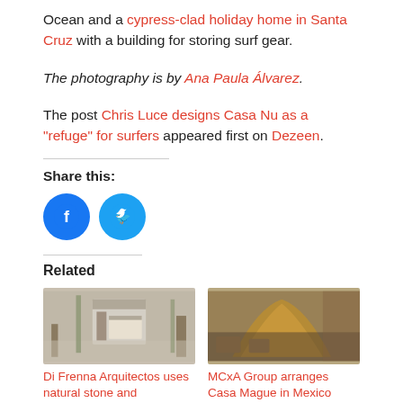Ocean and a cypress-clad holiday home in Santa Cruz with a building for storing surf gear.
The photography is by Ana Paula Álvarez.
The post Chris Luce designs Casa Nu as a "refuge" for surfers appeared first on Dezeen.
Share this:
[Figure (other): Facebook share button circle icon]
[Figure (other): Twitter share button circle icon]
Related
[Figure (photo): Di Frenna Arquitectos building with natural stone, modern structure surrounded by trees]
Di Frenna Arquitectos uses natural stone and
[Figure (photo): MCxA Group Casa Mague in Mexico, outdoor area with curved woven structure and seating]
MCxA Group arranges Casa Mague in Mexico